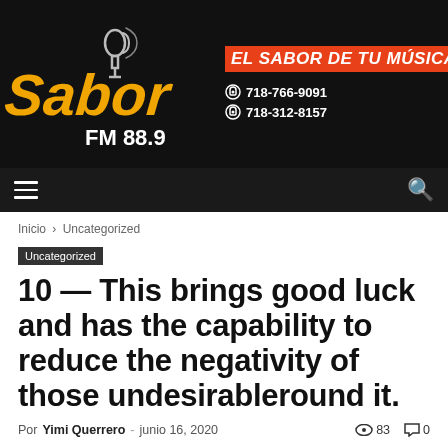[Figure (logo): Sabor FM 88.9 radio station banner with logo, slogan 'EL SABOR DE TU MÚSICA', and phone numbers 718-766-9091 and 718-312-8157]
Navigation bar with hamburger menu and search icon
Inicio › Uncategorized
Uncategorized
10 — This brings good luck and has the capability to reduce the negativity of those undesirableround it.
Por Yimi Querrero - junio 16, 2020  83  0